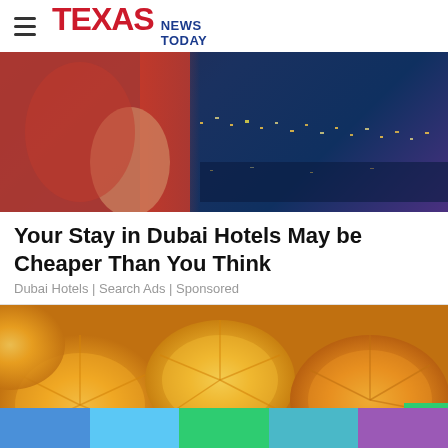TEXAS NEWS TODAY
[Figure (photo): Woman in red dress against a city skyline at night with bokeh lights]
Your Stay in Dubai Hotels May be Cheaper Than You Think
Dubai Hotels | Search Ads | Sponsored
[Figure (photo): Close-up of sliced oranges with yellow-orange colors, blurred background]